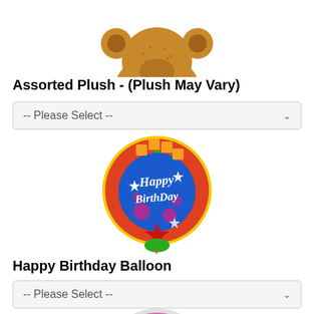[Figure (photo): Assorted plush stuffed animal (teddy bear), partially cropped at top]
Assorted Plush - (Plush May Vary)
-- Please Select --
[Figure (photo): Happy Birthday Balloon - colorful round foil balloon with 'Happy Birthday' text]
Happy Birthday Balloon
-- Please Select --
[Figure (photo): Another balloon, partially visible at bottom of page]